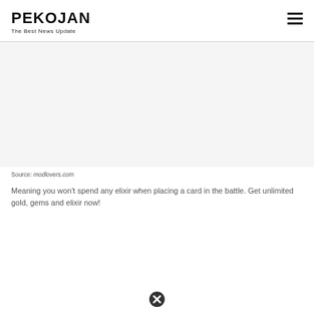PEKOJAN
The Best News Update
[Figure (other): Advertisement / blank image placeholder area]
Source: modlovers.com
Meaning you won't spend any elixir when placing a card in the battle. Get unlimited gold, gems and elixir now!
[Figure (other): Close/dismiss button icon (circled X)]